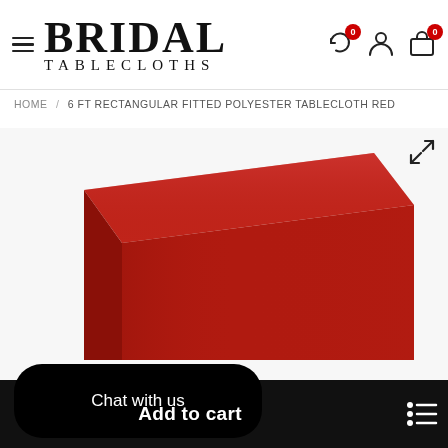BRIDAL TABLECLOTHS
HOME / 6 FT RECTANGULAR FITTED POLYESTER TABLECLOTH RED
[Figure (photo): A rectangular table covered with a fitted red polyester tablecloth, shown at an angle against a light background.]
Chat with us
Add to cart